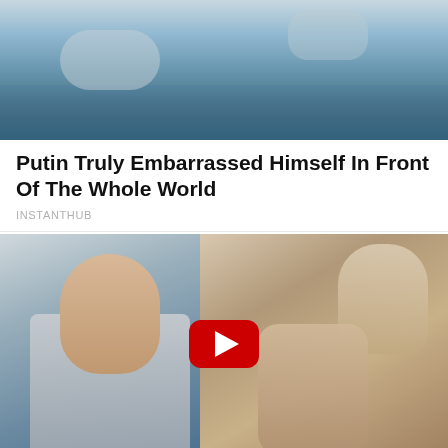[Figure (photo): Top partial image showing water/fountain scene, cropped at top]
Putin Truly Embarrassed Himself In Front Of The Whole World
INSTANTHUB
[Figure (photo): Photo collage: left side shows man in grey suit (Prince Harry) during interview, right side shows woman (Meghan) with child (Archie). A YouTube-style play button overlay is centered.]
They Finally Admit What Some Suspected All Along About Archie
INSTANTHUB